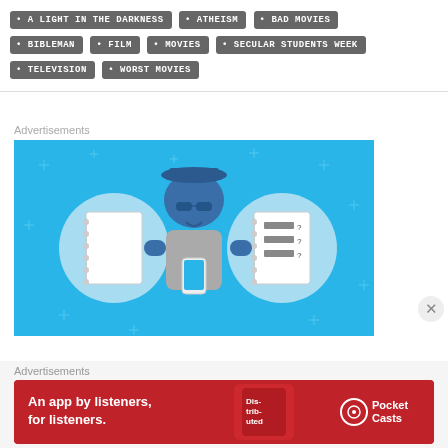A LIGHT IN THE DARKNESS
ATHEISM
BAD MOVIES
BIBLEMAN
FILM
MOVIES
SECULAR STUDENTS WEEK
TELEVISION
WORST MOVIES
[Figure (illustration): Blue background advertisement banner showing a cartoon man holding a phone flanked by two circular icons with notebooks]
Advertisements
[Figure (illustration): Red Pocket Casts advertisement banner reading 'An app by listeners, for listeners.' with phone graphic and Pocket Casts logo]